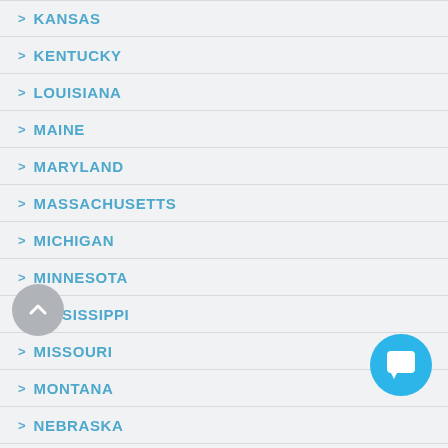> KANSAS
> KENTUCKY
> LOUISIANA
> MAINE
> MARYLAND
> MASSACHUSETTS
> MICHIGAN
> MINNESOTA
> MISSISSIPPI
> MISSOURI
> MONTANA
> NEBRASKA
> NEVADA